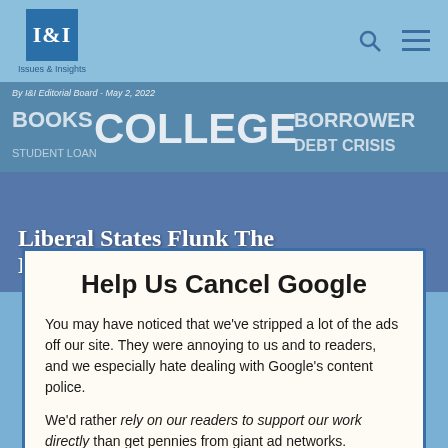I&I Issues & Insights
[Figure (photo): Word cloud banner image with college debt-related terms: BOOKS, COLLEGE, BORROWER, STUDENT LOAN, DEBT CRISIS, with byline: By I&I Editorial Board - May 2, 2022]
Liberal States Flunk The Education Freedom Test
Help Us Cancel Google
You may have noticed that we've stripped a lot of the ads off our site. They were annoying to us and to readers, and we especially hate dealing with Google's content police.
We'd rather rely on our readers to support our work directly than get pennies from giant ad networks.
We won't charge you to access our content, but you can help us keep this site going with a donation.